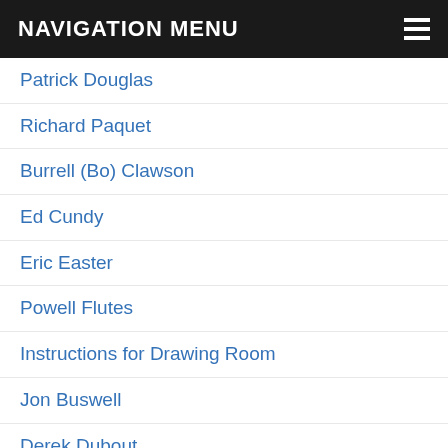NAVIGATION MENU
Patrick Douglas
Richard Paquet
Burrell (Bo) Clawson
Ed Cundy
Eric Easter
Powell Flutes
Instructions for Drawing Room
Jon Buswell
Derek Dubout
Steel Plus Network
Jeffrey Jakucyk
Ed Jaworski
Jim Lewis
Stebbins Engineering